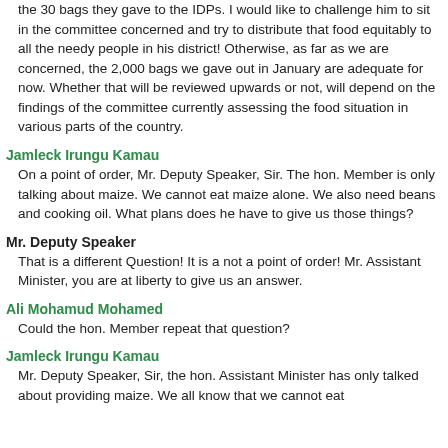the 30 bags they gave to the IDPs. I would like to challenge him to sit in the committee concerned and try to distribute that food equitably to all the needy people in his district! Otherwise, as far as we are concerned, the 2,000 bags we gave out in January are adequate for now. Whether that will be reviewed upwards or not, will depend on the findings of the committee currently assessing the food situation in various parts of the country.
Jamleck Irungu Kamau
On a point of order, Mr. Deputy Speaker, Sir. The hon. Member is only talking about maize. We cannot eat maize alone. We also need beans and cooking oil. What plans does he have to give us those things?
Mr. Deputy Speaker
That is a different Question! It is a not a point of order! Mr. Assistant Minister, you are at liberty to give us an answer.
Ali Mohamud Mohamed
Could the hon. Member repeat that question?
Jamleck Irungu Kamau
Mr. Deputy Speaker, Sir, the hon. Assistant Minister has only talked about providing maize. We all know that we cannot eat